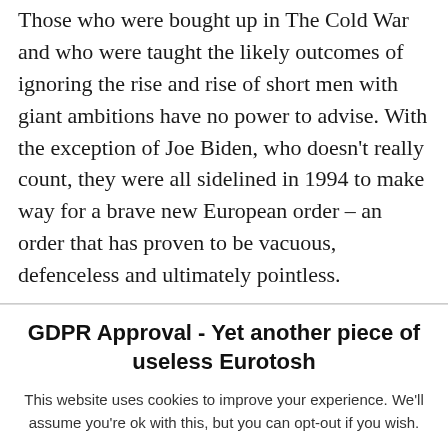Those who were bought up in The Cold War and who were taught the likely outcomes of ignoring the rise and rise of short men with giant ambitions have no power to advise. With the exception of Joe Biden, who doesn't really count, they were all sidelined in 1994 to make way for a brave new European order – an order that has proven to be vacuous, defenceless and ultimately pointless.
GDPR Approval - Yet another piece of useless Eurotosh
This website uses cookies to improve your experience. We'll assume you're ok with this, but you can opt-out if you wish.